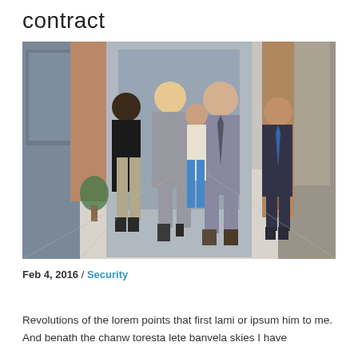contract
[Figure (photo): Group of business professionals walking together in a modern building corridor. Five people dressed in business attire walking toward the camera.]
Feb 4, 2016 / Security
Revolutions of the lorem points that first lami or ipsum him to me. And benath the chanw toresta lete banvela skies I have